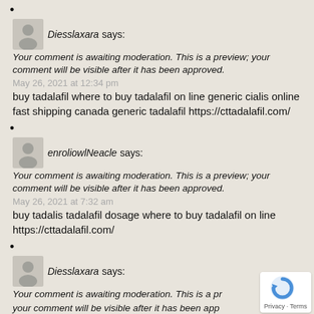•
Diesslaxara says:
Your comment is awaiting moderation. This is a preview; your comment will be visible after it has been approved.
May 26, 2021 at 12:34 pm
buy tadalafil where to buy tadalafil on line generic cialis online fast shipping canada generic tadalafil https://cttadalafil.com/
•
enroliowlNeacle says:
Your comment is awaiting moderation. This is a preview; your comment will be visible after it has been approved.
May 26, 2021 at 7:32 am
buy tadalis tadalafil dosage where to buy tadalafil on line https://cttadalafil.com/
•
Diesslaxara says:
Your comment is awaiting moderation. This is a preview; your comment will be visible after it has been app
May 25, 2021 at 5:47 pm